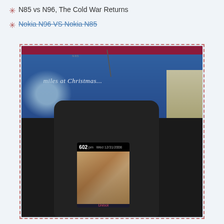N85 vs N96, The Cold War Returns
Nokia N96 VS Nokia N85
[Figure (photo): Photo of a Nokia N85 smartphone displaying a family photo on its screen, showing a man, woman, and child. The phone screen shows the time 602 pm and date Wed 12/31/2008. The phone is set against a Christmas-themed background with text reading 'miles at Christmas...' and holiday decorations. The bottom of the screen shows the word 'Unlock' in pink text.]